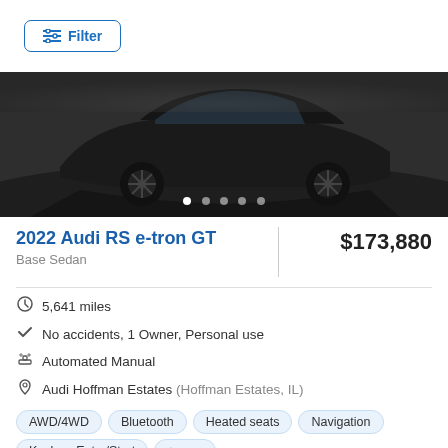Filter
[Figure (photo): Black Audi RS e-tron GT sedan photographed on a dark reflective surface, showing front-side angle, with image carousel dots at the bottom]
2022 Audi RS e-tron GT
$173,880
Base Sedan
5,641 miles
No accidents, 1 Owner, Personal use
Automated Manual
Audi Hoffman Estates (Hoffman Estates, IL)
AWD/4WD
Bluetooth
Heated seats
Navigation
Keyless Entry/Start
+more